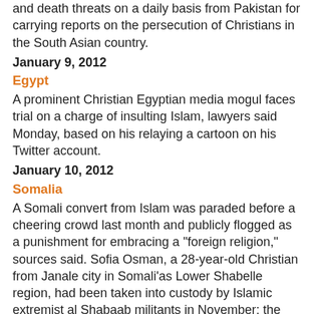and death threats on a daily basis from Pakistan for carrying reports on the persecution of Christians in the South Asian country.
January 9, 2012
Egypt
A prominent Christian Egyptian media mogul faces trial on a charge of insulting Islam, lawyers said Monday, based on his relaying a cartoon on his Twitter account.
January 10, 2012
Somalia
A Somali convert from Islam was paraded before a cheering crowd last month and publicly flogged as a punishment for embracing a "foreign religion," sources said. Sofia Osman, a 28-year-old Christian from Janale city in Somali'as Lower Shabelle region, had been taken into custody by Islamic extremist al Shabaab militants in November; the public whipping was meant to mark her release. She received 40 lashes on Dec. 22 while jeered by spectators.
January 11, 2012
Nigeria (hat tip to JihadWatch)
Suspected members of Islamist group Boko Haram on Wednesday shot dead four Christians who were believed to